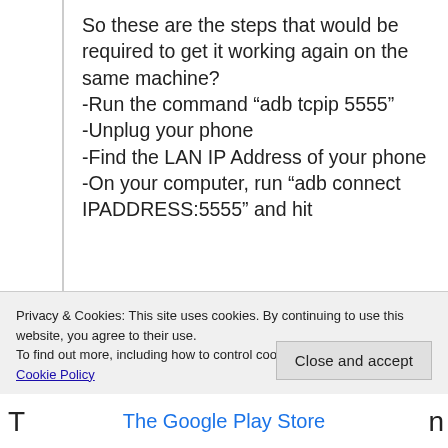So these are the steps that would be required to get it working again on the same machine?
-Run the command “adb tcpip 5555”
-Unplug your phone
-Find the LAN IP Address of your phone
-On your computer, run “adb connect IPADDRESS:5555” and hit
Privacy & Cookies: This site uses cookies. By continuing to use this website, you agree to their use.
To find out more, including how to control cookies, see here:
Cookie Policy
Close and accept
T
n
The Google Play Store